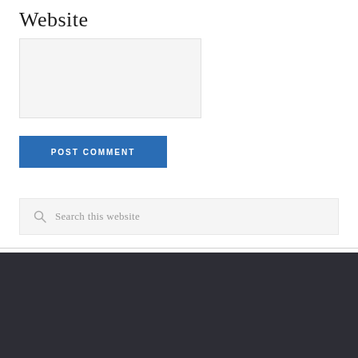Website
[Figure (screenshot): Empty text input box with light gray background]
POST COMMENT
[Figure (screenshot): Search box with magnifying glass icon and placeholder text 'Search this website']
We use cookies to ensure that we give you the best experience on our website. If you continue to use this site we will assume that you are happy with it.
Ok
Privacy policy